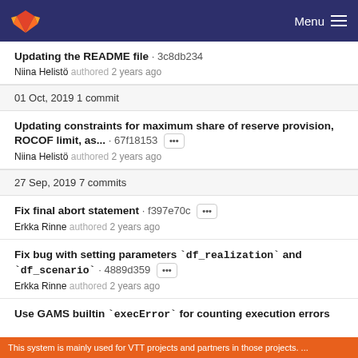Menu
Updating the README file · 3c8db234
Niina Helistö authored 2 years ago
01 Oct, 2019 1 commit
Updating constraints for maximum share of reserve provision, ROCOF limit, as... · 67f18153 ···
Niina Helistö authored 2 years ago
27 Sep, 2019 7 commits
Fix final abort statement · f397e70c ···
Erkka Rinne authored 2 years ago
Fix bug with setting parameters `df_realization` and `df_scenario` · 4889d359 ···
Erkka Rinne authored 2 years ago
Use GAMS builtin `execError` for counting execution errors
This system is mainly used for VTT projects and partners in those projects. ...